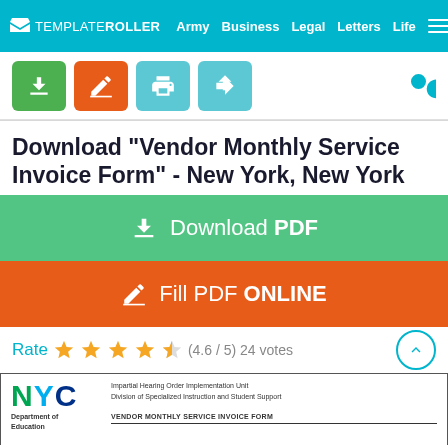TEMPLATEROLLER  Army  Business  Legal  Letters  Life
[Figure (screenshot): Toolbar with download, fill, print, and share buttons]
Download "Vendor Monthly Service Invoice Form" - New York, New York
Download PDF
Fill PDF ONLINE
Rate (4.6 / 5) 24 votes
[Figure (screenshot): NYC Department of Education Vendor Monthly Service Invoice Form document preview]